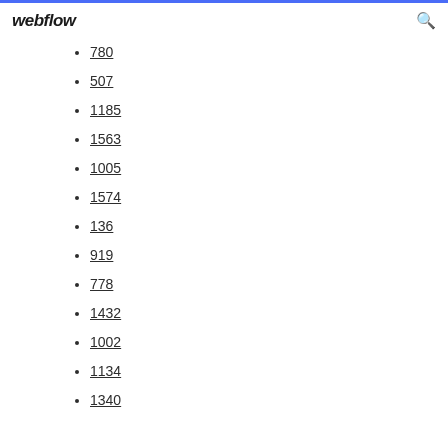webflow
780
507
1185
1563
1005
1574
136
919
778
1432
1002
1134
1340